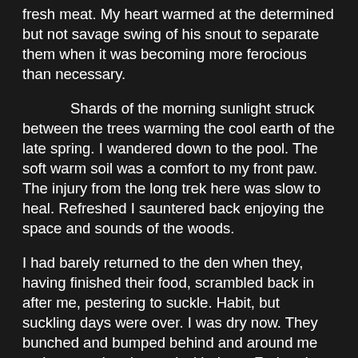fresh meat. My heart warmed at the determined but not savage swing of his snout to separate them when it was becoming more ferocious than necessary.
Shards of the morning sunlight struck between the trees warming the cool earth of the late spring. I wandered down to the pool. The soft warm soil was a comfort to my front paw. The injury from the long trek here was slow to heal. Refreshed I sauntered back enjoying the space and sounds of the woods.
I had barely returned to the den when they, having finished their food, scrambled back in after me, pestering to suckle. Habit, but suckling days were over. I was dry now. They bunched and bumped behind and around me as I returned to the pool with them. Fed and watered they rolled and tumbled back bursting with energy before flaking into a sleepy bundle in the back of den.